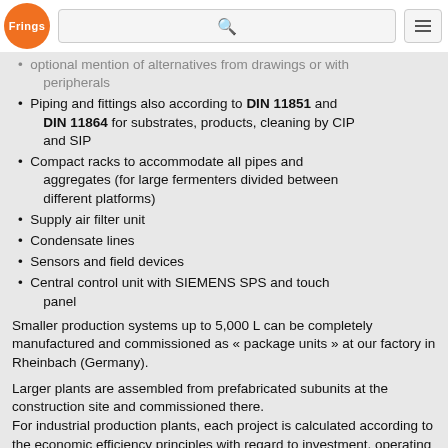Frings [logo] [search] [menu]
optional mention of alternatives from drawings or with peripherals
Piping and fittings also according to DIN 11851 and DIN 11864 for substrates, products, cleaning by CIP and SIP
Compact racks to accommodate all pipes and aggregates (for large fermenters divided between different platforms)
Supply air filter unit
Condensate lines
Sensors and field devices
Central control unit with SIEMENS SPS and touch panel
Smaller production systems up to 5,000 L can be completely manufactured and commissioned as « package units » at our factory in Rheinbach (Germany).
Larger plants are assembled from prefabricated subunits at the construction site and commissioned there.
For industrial production plants, each project is calculated according to the economic efficiency principles with regard to investment, operating costs and performance of the fermenter or fermenter line in close cooperation with you as